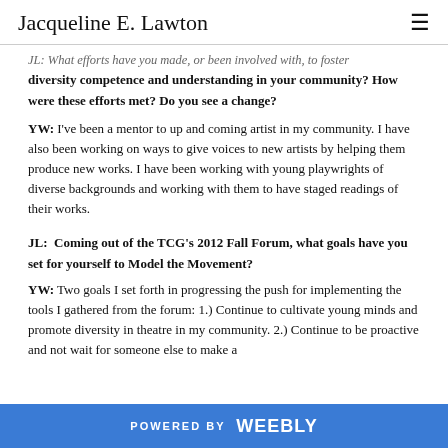Jacqueline E. Lawton
JL: What efforts have you made, or been involved with, to foster diversity competence and understanding in your community? How were these efforts met? Do you see a change?
YW: I've been a mentor to up and coming artist in my community. I have also been working on ways to give voices to new artists by helping them produce new works. I have been working with young playwrights of diverse backgrounds and working with them to have staged readings of their works.
JL: Coming out of the TCG's 2012 Fall Forum, what goals have you set for yourself to Model the Movement?
YW: Two goals I set forth in progressing the push for implementing the tools I gathered from the forum: 1.) Continue to cultivate young minds and promote diversity in theatre in my community. 2.) Continue to be proactive and not wait for someone else to make a
POWERED BY weebly